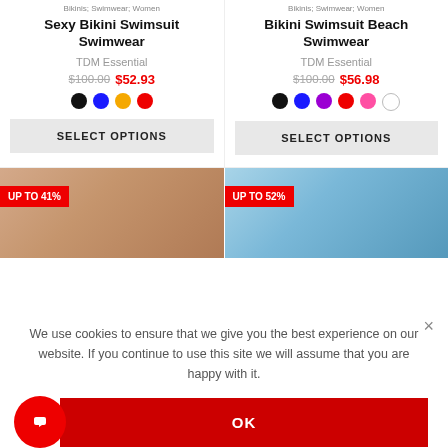Bikinis; Swimwear; Women
Sexy Bikini Swimsuit Swimwear
TDM Essential
$100.00  $52.93
Bikinis; Swimwear; Women
Bikini Swimsuit Beach Swimwear
TDM Essential
$100.00  $56.98
[Figure (photo): Product image with UP TO 41% badge]
[Figure (photo): Product image with UP TO 52% badge]
We use cookies to ensure that we give you the best experience on our website. If you continue to use this site we will assume that you are happy with it.
OK